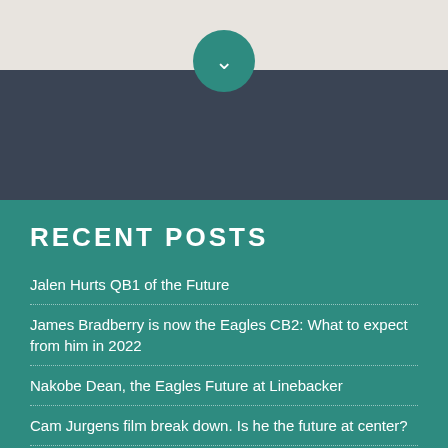[Figure (other): Light gray top section with teal circular button containing a white chevron/down arrow, above a dark navy band]
RECENT POSTS
Jalen Hurts QB1 of the Future
James Bradberry is now the Eagles CB2: What to expect from him in 2022
Nakobe Dean, the Eagles Future at Linebacker
Cam Jurgens film break down. Is he the future at center?
2022 Philadelphia Eagles UDFA tracker
A.J. Brown is an Eagle!! A film deep dive into what he